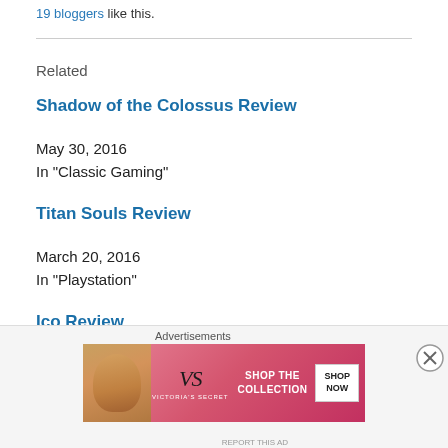19 bloggers like this.
Related
Shadow of the Colossus Review
May 30, 2016
In "Classic Gaming"
Titan Souls Review
March 20, 2016
In "Playstation"
Ico Review
November 30, 2015
In "Classic Gaming"
[Figure (screenshot): Victoria's Secret advertisement banner with model photo, VS logo, 'SHOP THE COLLECTION' text and 'SHOP NOW' button]